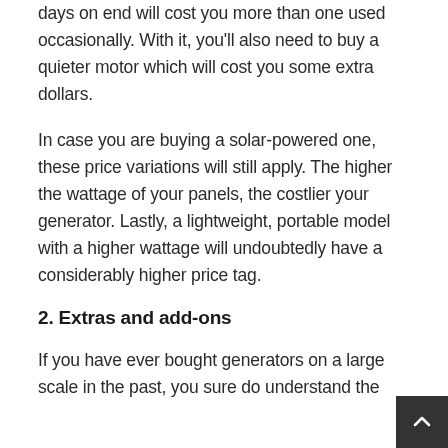days on end will cost you more than one used occasionally. With it, you'll also need to buy a quieter motor which will cost you some extra dollars.
In case you are buying a solar-powered one, these price variations will still apply. The higher the wattage of your panels, the costlier your generator. Lastly, a lightweight, portable model with a higher wattage will undoubtedly have a considerably higher price tag.
2. Extras and add-ons
If you have ever bought generators on a large scale in the past, you sure do understand the long list of features that you should expect them to. If